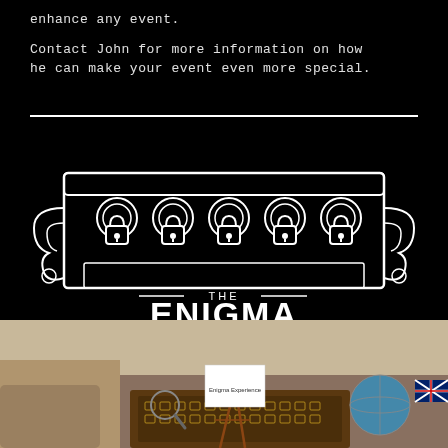enhance any event.
Contact John for more information on how he can make your event even more special.
[Figure (logo): The Enigma Experience logo: white line-art illustration of a box with five padlocks, with the text 'THE ENIGMA EXPERIENCE' below on black background]
[Figure (photo): Photograph of a wooden desk/box with small objects, an easel displaying the Enigma Experience logo card, a globe on the right, and other room props in the background]